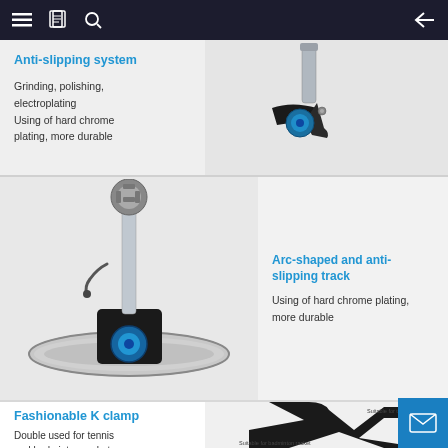Navigation bar with menu, book, search icons and back arrow
Anti-slipping system
Grinding, polishing, electroplating
Using of hard chrome plating, more durable
[Figure (photo): Close-up photo of a chrome plated anti-slipping mechanism with black arm and blue accent]
[Figure (photo): Full view of arc-shaped anti-slipping track component with chrome plating, black base with blue accent and adjustment mechanism on top]
Arc-shaped and anti-slipping track
Using of hard chrome plating, more durable
[Figure (photo): Black K clamp suitable for both tennis and badminton rackets, shown with labeled arrows indicating suitable for tennis racket and suitable for badminton racket]
Fashionable K clamp
Double used for tennis and badminton rackets